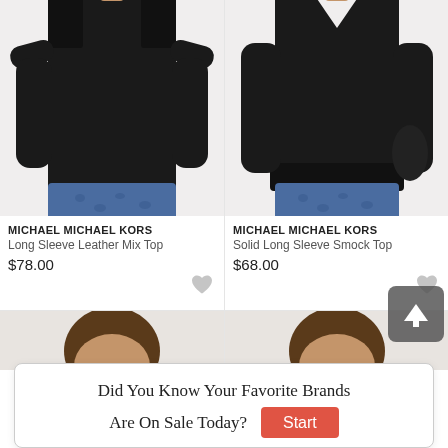[Figure (photo): Woman wearing a black long sleeve leather mix top with square neckline and blue patterned pants, Michael Michael Kors product photo]
[Figure (photo): Woman wearing a black solid long sleeve smock top with V-neckline and blue patterned pants, Michael Michael Kors product photo]
MICHAEL MICHAEL KORS
Long Sleeve Leather Mix Top
$78.00
MICHAEL MICHAEL KORS
Solid Long Sleeve Smock Top
$68.00
[Figure (photo): Partial photo of a woman, bottom product row, left side]
[Figure (photo): Partial photo of a woman, bottom product row, right side]
Did You Know Your Favorite Brands Are On Sale Today?
Start